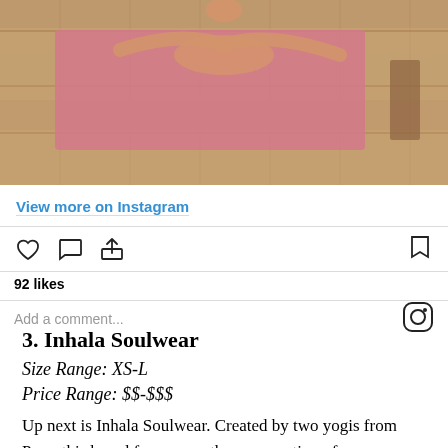[Figure (photo): Instagram post image showing a person doing yoga on a pink mat on wooden floor, viewed from above, cropped at top portion]
View more on Instagram
[Figure (infographic): Instagram action bar with heart (like), comment bubble, share icons on left, and bookmark icon on right]
92 likes
Add a comment...
3. Inhala Soulwear
Size Range: XS-L
Price Range: $$-$$$
Up next is Inhala Soulwear. Created by two yogis from Peru, this brand focuses on the preservation of